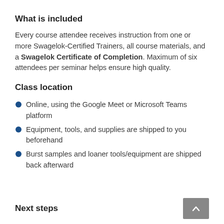What is included
Every course attendee receives instruction from one or more Swagelok-Certified Trainers, all course materials, and a Swagelok Certificate of Completion. Maximum of six attendees per seminar helps ensure high quality.
Class location
Online, using the Google Meet or Microsoft Teams platform
Equipment, tools, and supplies are shipped to you beforehand
Burst samples and loaner tools/equipment are shipped back afterward
Next steps